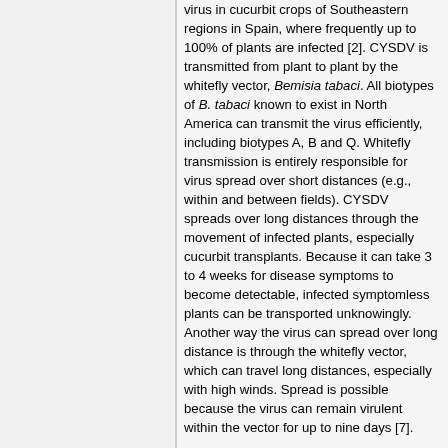virus in cucurbit crops of Southeastern regions in Spain, where frequently up to 100% of plants are infected [2]. CYSDV is transmitted from plant to plant by the whitefly vector, Bemisia tabaci. All biotypes of B. tabaci known to exist in North America can transmit the virus efficiently, including biotypes A, B and Q. Whitefly transmission is entirely responsible for virus spread over short distances (e.g., within and between fields). CYSDV spreads over long distances through the movement of infected plants, especially cucurbit transplants. Because it can take 3 to 4 weeks for disease symptoms to become detectable, infected symptomless plants can be transported unknowingly. Another way the virus can spread over long distance is through the whitefly vector, which can travel long distances, especially with high winds. Spread is possible because the virus can remain virulent within the vector for up to nine days [7].
Although CYSDV has a relatively narrow host range, it was able to overwinter in California...